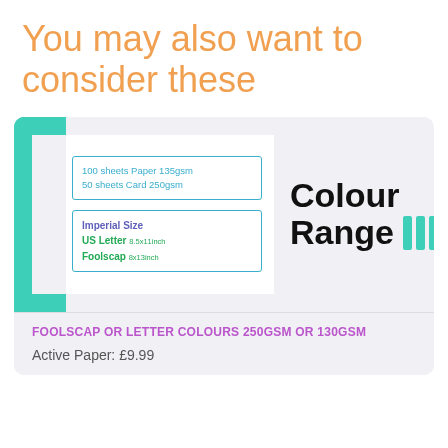You may also want to consider these
[Figure (illustration): Product card showing a colour range paper product with teal bracket decoration, two info boxes listing '100 sheets Paper 135gsm / 50 sheets Card 250gsm' and 'Imperial Size / US Letter 8.5x11inch / Foolscap 8x13inch', and large bold text 'Colour Range' with three teal vertical bars.]
FOOLSCAP OR LETTER COLOURS 250GSM OR 130GSM
Active Paper: £9.99